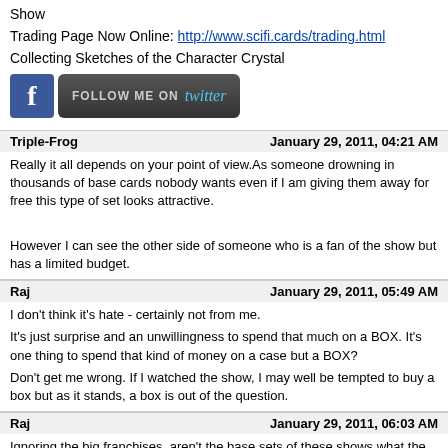Show
Trading Page Now Online: http://www.scifi.cards/trading.html
Collecting Sketches of the Character Crystal
[Figure (other): Facebook icon and Follow Me on Twitter button]
Triple-Frog	January 29, 2011, 04:21 AM
Really it all depends on your point of view.As someone drowning in thousands of base cards nobody wants even if I am giving them away for free this type of set looks attractive.

However I can see the other side of someone who is a fan of the show but has a limited budget.
Raj	January 29, 2011, 05:49 AM
I don't think it's hate - certainly not from me.
It's just surprise and an unwillingness to spend that much on a BOX. It's one thing to spend that kind of money on a case but a BOX?
Don't get me wrong. If I watched the show, I may well be tempted to buy a box but as it stands, a box is out of the question.
Raj	January 29, 2011, 06:03 AM
Ignoring the big franchises, aren't the base sets of these shows what the dealers should be trying to sell to fans of those shows who don't normally collect cards?